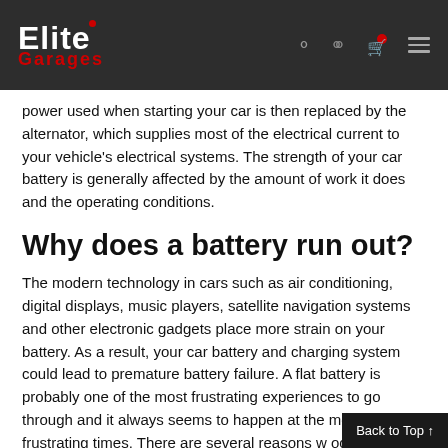Elite Garages
power used when starting your car is then replaced by the alternator, which supplies most of the electrical current to your vehicle's electrical systems. The strength of your car battery is generally affected by the amount of work it does and the operating conditions.
Why does a battery run out?
The modern technology in cars such as air conditioning, digital displays, music players, satellite navigation systems and other electronic gadgets place more strain on your battery. As a result, your car battery and charging system could lead to premature battery failure. A flat battery is probably one of the most frustrating experiences to go through and it always seems to happen at the most frustrating times. There are several reasons w occur including a faulty battery, leaving the h
Back to Top ↑